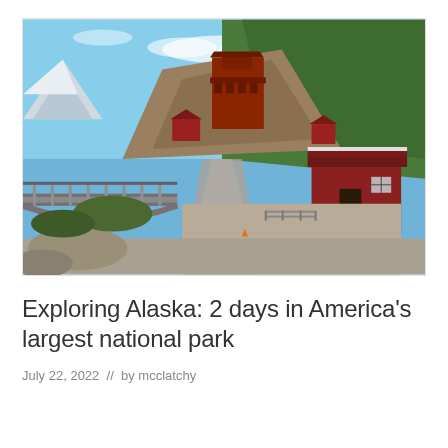[Figure (photo): Outdoor photograph of the Kennecott mine buildings in Wrangell-St. Elias National Park, Alaska. A large red multi-story industrial mill building sits atop a rocky hillside. Red historic buildings and a small red shed are visible in the foreground, along with a wooden footbridge crossing in the lower left, a gravel road, and green forested slopes under a blue sky with light clouds. Snow-capped mountains are faintly visible in the background left.]
Exploring Alaska: 2 days in America's largest national park
July 22, 2022  //  by mcclatchy